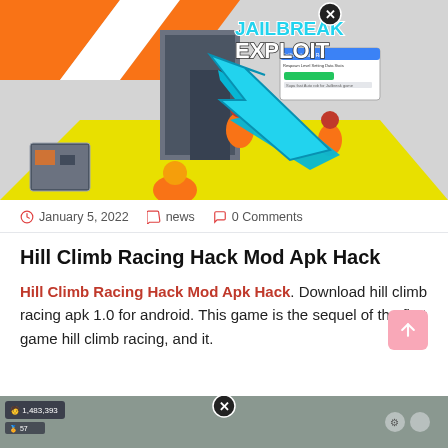[Figure (screenshot): Roblox Jailbreak game screenshot with 'JAILBREAK EXPLOIT' text overlay, cyan arrow pointing to a hack menu dialog, orange-suited characters in a prison environment, orange/white/yellow color scheme.]
January 5, 2022    news    0 Comments
Hill Climb Racing Hack Mod Apk Hack
Hill Climb Racing Hack Mod Apk Hack. Download hill climb racing apk 1.0 for android. This game is the sequel of the first game hill climb racing, and it.
[Figure (screenshot): Partial bottom screenshot of a Roblox game with UI elements, player stats, and a close (X) button overlay.]